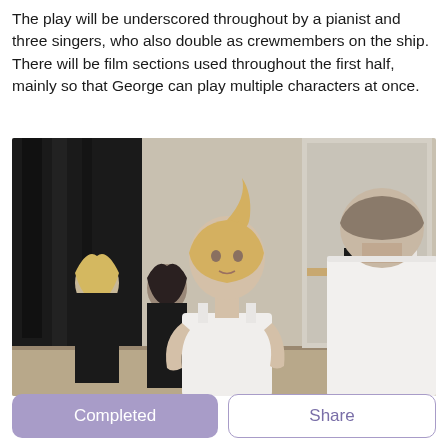The play will be underscored throughout by a pianist and three singers, who also double as crewmembers on the ship. There will be film sections used throughout the first half, mainly so that George can play multiple characters at once.
[Figure (photo): Rehearsal scene showing four people in a dance studio with mirrors. A blonde woman in a white tank top faces a man in a white t-shirt whose back is to the camera. Two other performers in black stand in the background.]
Completed
Share